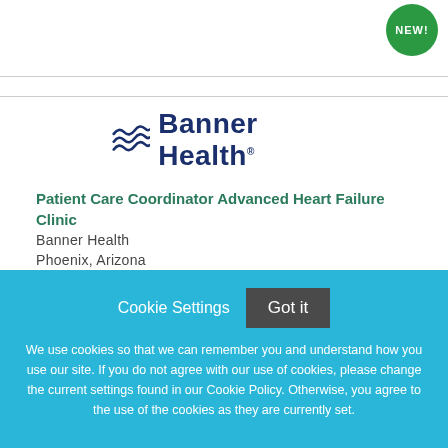[Figure (logo): Banner Health logo with wave icon and blue text]
Patient Care Coordinator Advanced Heart Failure Clinic
Banner Health
Phoenix, Arizona
Cookie Settings  Got it
We use cookies so that we can remember you and understand how you use our site. If you do not agree with our use of cookies, please change the current settings found in our Cookie Policy. Otherwise, you agree to the use of the cookies as they are currently set.